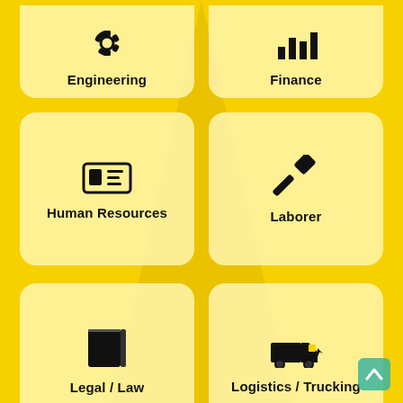[Figure (infographic): Category card grid showing job categories. Row 1 (partial, top-cropped): Engineering (gear icon), Finance (bar chart icon). Row 2: Human Resources (ID card icon), Laborer (hammer icon). Row 3: Legal/Law (book icon), Logistics/Trucking (truck icon). Row 4 (partial, bottom-cropped): person icon (unlabeled), bar chart icon (unlabeled). Yellow background with faint silhouette overlay.]